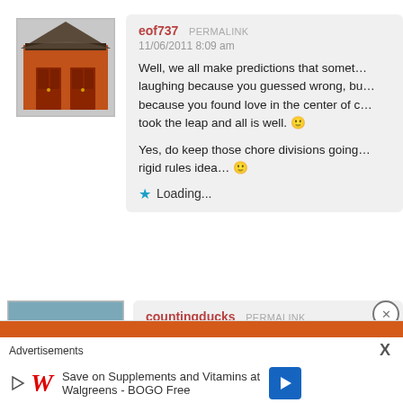[Figure (photo): Avatar photo of a Japanese temple with red gate/doors]
eof737  PERMALINK
11/06/2011 8:09 am
Well, we all make predictions that somet... laughing because you guessed wrong, bu... because you found love in the center of c... took the leap and all is well. 🙂
Yes, do keep those chore divisions going... rigid rules idea… 🙂
★ Loading...
[Figure (photo): Avatar photo of a mallard duck swimming on water]
countingducks  PERMALINK
09/06/2011 9:00 am
Advertisements
Save on Supplements and Vitamins at Walgreens - BOGO Free